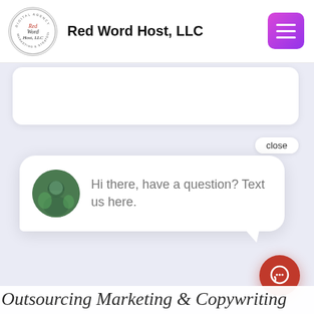[Figure (logo): Red Word Host LLC circular logo with script text and tagline]
Red Word Host, LLC
[Figure (screenshot): Hamburger menu button, purple/pink gradient square with three white horizontal bars]
[Figure (screenshot): White rounded card at top of content area]
close
[Figure (screenshot): Chat bubble popup with avatar and message: Hi there, have a question? Text us here.]
Hi there, have a question? Text us here.
[Figure (screenshot): Red circular chat FAB button with speech bubble icon]
Outsourcing Marketing & Copywriting